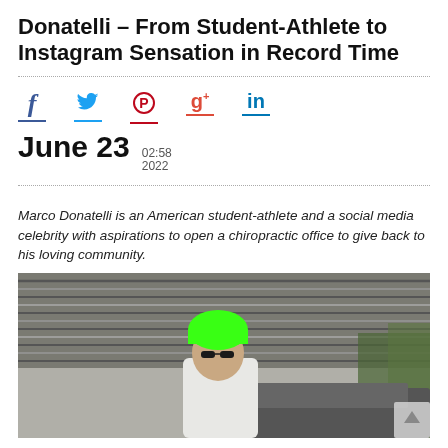Donatelli – From Student-Athlete to Instagram Sensation in Record Time
[Figure (other): Social media share icons: Facebook (f), Twitter bird, Pinterest (P), Google+ (g+), LinkedIn (in), each with a colored underline bar]
June 23  02:58  2022
Marco Donatelli is an American student-athlete and a social media celebrity with aspirations to open a chiropractic office to give back to his loving community.
[Figure (photo): Photo of a man wearing a bright neon green beanie hat and sunglasses, dressed in a white shirt, standing near a dark car with a rocky waterfall background.]